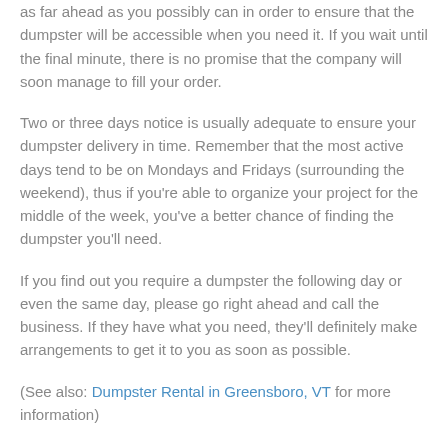as far ahead as you possibly can in order to ensure that the dumpster will be accessible when you need it. If you wait until the final minute, there is no promise that the company will soon manage to fill your order.
Two or three days notice is usually adequate to ensure your dumpster delivery in time. Remember that the most active days tend to be on Mondays and Fridays (surrounding the weekend), thus if you're able to organize your project for the middle of the week, you've a better chance of finding the dumpster you'll need.
If you find out you require a dumpster the following day or even the same day, please go right ahead and call the business. If they have what you need, they'll definitely make arrangements to get it to you as soon as possible.
(See also: Dumpster Rental in Greensboro, VT for more information)
Prevent Hidden Fees When Renting